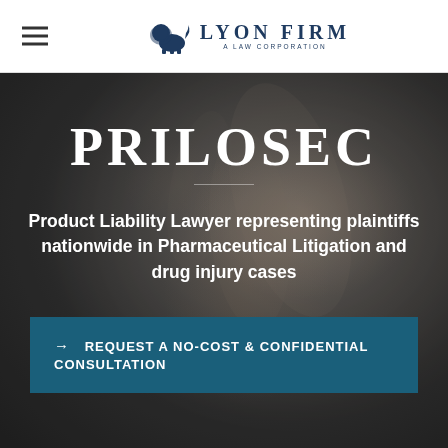The Lyon Firm — A Law Corporation
PRILOSEC
Product Liability Lawyer representing plaintiffs nationwide in Pharmaceutical Litigation and drug injury cases
→ REQUEST A NO-COST & CONFIDENTIAL CONSULTATION